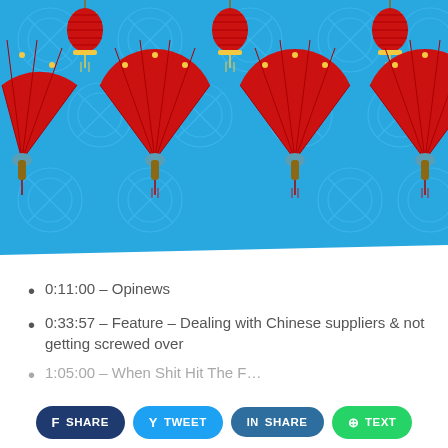[Figure (illustration): Blue background with Chinese New Year decorative pattern featuring red paper fans and red lanterns with gold details, arranged in a repeating pattern on a light blue background with circular motifs]
0:11:00 – Opinews
0:33:57 – Feature – Dealing with Chinese suppliers & not getting screwed over
1:05:00 – When Shit Hit The F…